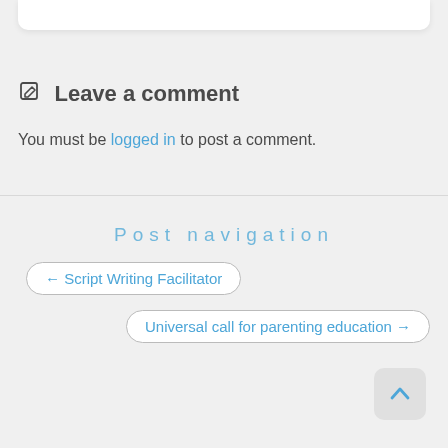Leave a comment
You must be logged in to post a comment.
Post navigation
← Script Writing Facilitator
Universal call for parenting education →